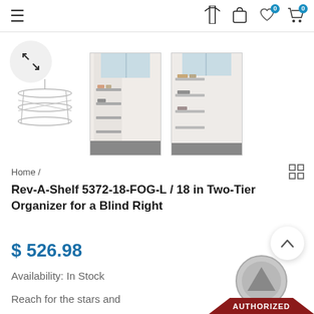≡   [nav icons: clothing, bag, heart 0, cart 0]
[Figure (screenshot): Expand/fullscreen circle button with diagonal arrows icon]
[Figure (photo): Three product thumbnail images: left shows wire rack organizer sketch, center shows rev-a-shelf blind corner organizer open in cabinet, right shows similar organizer in cabinet from different angle]
Home /
Rev-A-Shelf 5372-18-FOG-L / 18 in Two-Tier Organizer for a Blind Right
$ 526.98
Availability: In Stock
Reach for the stars and
[Figure (logo): Circular gray badge with mountain/chevron shape and red AUTHORIZED banner at bottom]